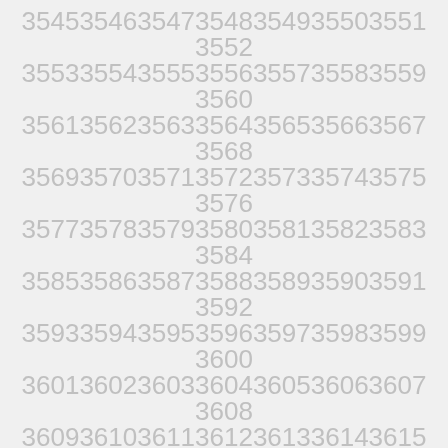3545 3546 3547 3548 3549 3550 3551 3552
3553 3554 3555 3556 3557 3558 3559 3560
3561 3562 3563 3564 3565 3566 3567 3568
3569 3570 3571 3572 3573 3574 3575 3576
3577 3578 3579 3580 3581 3582 3583 3584
3585 3586 3587 3588 3589 3590 3591 3592
3593 3594 3595 3596 3597 3598 3599 3600
3601 3602 3603 3604 3605 3606 3607 3608
3609 3610 3611 3612 3613 3614 3615 3616
3617 3618 3619 3620 3621 3622 3623 3624
3625 3626 3627 3628 3629 3630 3631 3632
3633 3634 3635 3636 3637 3638 3639 3640
3641 3642 3643 3644 3645 3646 3647 3648